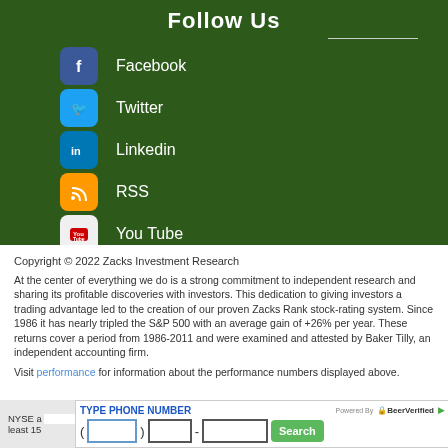Follow Us
Facebook
Twitter
Linkedin
RSS
You Tube
Copyright © 2022 Zacks Investment Research
At the center of everything we do is a strong commitment to independent research and sharing its profitable discoveries with investors. This dedication to giving investors a trading advantage led to the creation of our proven Zacks Rank stock-rating system. Since 1986 it has nearly tripled the S&P 500 with an average gain of +26% per year. These returns cover a period from 1986-2011 and were examined and attested by Baker Tilly, an independent accounting firm.
Visit performance for information about the performance numbers displayed above.
NYSE a...ta is at least 15...